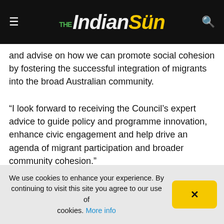The Indian Sun
and advise on how we can promote social cohesion by fostering the successful integration of migrants into the broad Australian community.
“I look forward to receiving the Council’s expert advice to guide policy and programme innovation, enhance civic engagement and help drive an agenda of migrant participation and broader community cohesion.”
Vasan a well-known member of the Indian community and he has been involved in projects on mental health and other multicultural projects throughout Victoria. He was recently
We use cookies to enhance your experience. By continuing to visit this site you agree to our use of cookies. More info